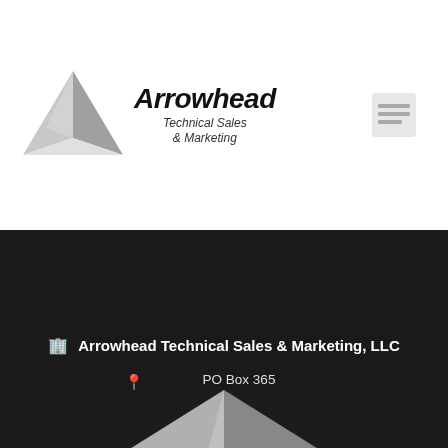[Figure (logo): Arrowhead Technical Sales & Marketing logo with 3D silver arrowhead/triangle graphic on left, company name in italic bold font on right, and a menu icon to the far right]
[Figure (photo): Dark background photo showing a large 3D metallic silver arrowhead/triangle shape against a very dark background, continuing the logo motif]
Arrowhead Technical Sales & Marketing, LLC
PO Box 365
Lake Havasu City, AZ 86405
1-800-870-7111